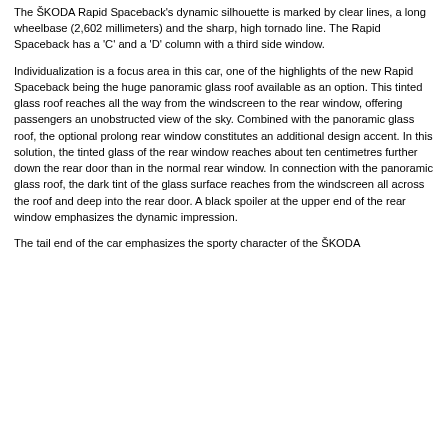The ŠKODA Rapid Spaceback's dynamic silhouette is marked by clear lines, a long wheelbase (2,602 millimeters) and the sharp, high tornado line. The Rapid Spaceback has a 'C' and a 'D' column with a third side window.
Individualization is a focus area in this car, one of the highlights of the new Rapid Spaceback being the huge panoramic glass roof available as an option. This tinted glass roof reaches all the way from the windscreen to the rear window, offering passengers an unobstructed view of the sky. Combined with the panoramic glass roof, the optional prolong rear window constitutes an additional design accent. In this solution, the tinted glass of the rear window reaches about ten centimetres further down the rear door than in the normal rear window. In connection with the panoramic glass roof, the dark tint of the glass surface reaches from the windscreen all across the roof and deep into the rear door. A black spoiler at the upper end of the rear window emphasizes the dynamic impression.
The tail end of the car emphasizes the sporty character of the ŠKODA